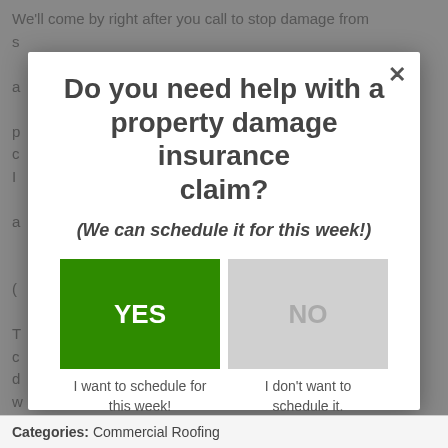We'll come by right after you call to stop damage from spreading...
[Figure (screenshot): Modal popup dialog asking 'Do you need help with a property damage insurance claim?' with YES (green) and NO (grey) buttons and labels 'I want to schedule for this week!' and 'I don't want to schedule it.']
Categories: Commercial Roofing